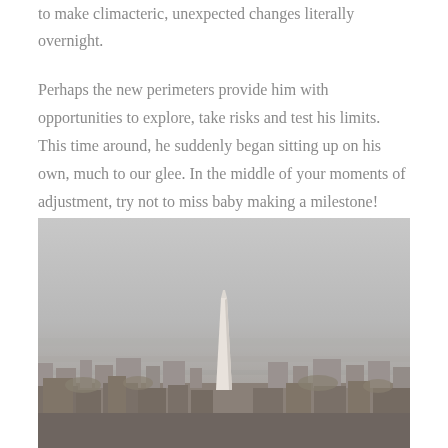to make climacteric, unexpected changes literally overnight.
Perhaps the new perimeters provide him with opportunities to explore, take risks and test his limits. This time around, he suddenly began sitting up on his own, much to our glee. In the middle of your moments of adjustment, try not to miss baby making a milestone!
[Figure (photo): Aerial cityscape photo showing a city skyline under an overcast grey sky, with the Washington Monument obelisk visible in the center foreground and urban buildings spread across the background.]